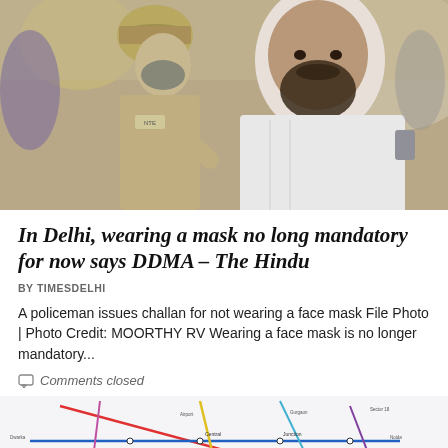[Figure (photo): A policeman in khaki uniform and face mask appears to be speaking with or issuing a challan to a bearded man in white kurta, with more people visible in the blurred background.]
In Delhi, wearing a mask no long mandatory for now says DDMA – The Hindu
BY TIMESDELHI
A policeman issues challan for not wearing a face mask File Photo | Photo Credit: MOORTHY RV Wearing a face mask is no longer mandatory...
Comments closed
[Figure (map): A partial view of what appears to be a Delhi Metro rail map showing multiple colored lines and station names.]